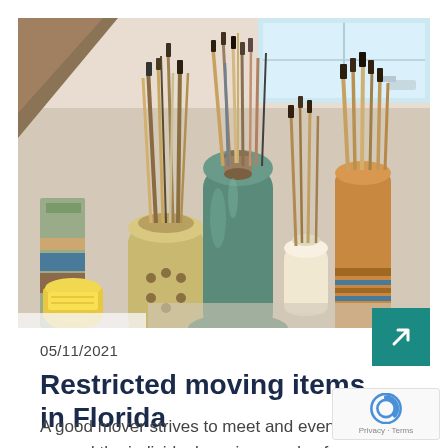[Figure (photo): Ceramic vases and containers holding artist paint brushes and art supplies, photographed in a bright studio near a window with natural light. Multiple containers of different sizes and glazes — beige, teal, and amber — are densely packed with brushes.]
05/11/2021
Restricted moving items in Florida
A good mover strives to meet and even exceed the individual moving needs of